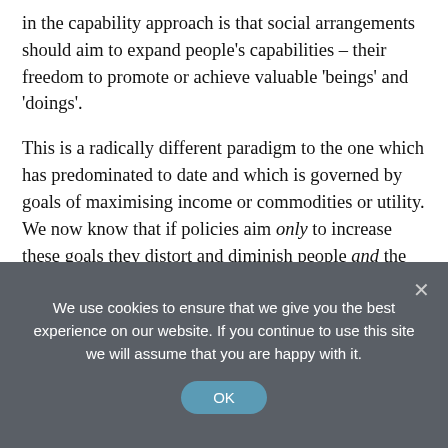in the capability approach is that social arrangements should aim to expand people's capabilities – their freedom to promote or achieve valuable 'beings' and 'doings'.

This is a radically different paradigm to the one which has predominated to date and which is governed by goals of maximising income or commodities or utility. We now know that if policies aim only to increase these goals they distort and diminish people and the lives they have the potential to lead. Much conventional economic thinking is based upon a utilitarian approach – how best to have most 'desire-fulfilment', as measured by commodities or money. What the human development economists, such as Sen, are
We use cookies to ensure that we give you the best experience on our website. If you continue to use this site we will assume that you are happy with it.